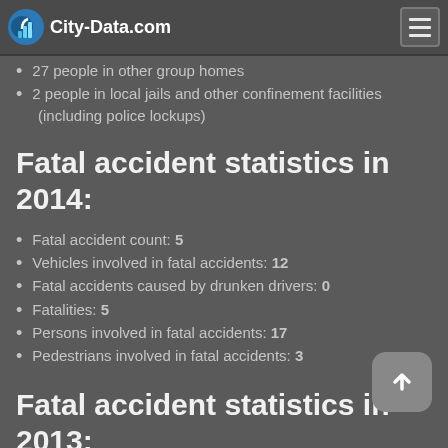City-Data.com
27 people in other group homes
2 people in local jails and other confinement facilities (including police lockups)
Fatal accident statistics in 2014:
Fatal accident count: 5
Vehicles involved in fatal accidents: 12
Fatal accidents caused by drunken drivers: 0
Fatalities: 5
Persons involved in fatal accidents: 17
Pedestrians involved in fatal accidents: 3
Fatal accident statistics in 2013:
Fatal accident count: 1
Vehicles involved in fatal accidents: 1
Fatal accidents caused by drunken drivers: 1
Fatalities: 1